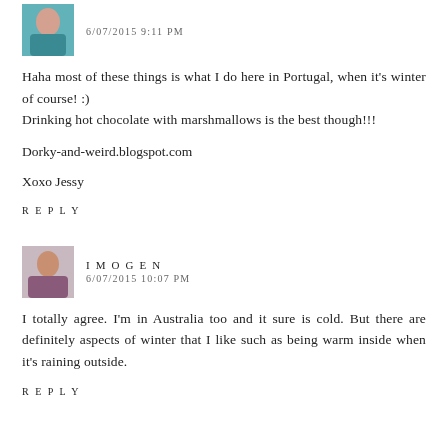6/07/2015 9:11 PM
Haha most of these things is what I do here in Portugal, when it's winter of course! :)
Drinking hot chocolate with marshmallows is the best though!!!
Dorky-and-weird.blogspot.com
Xoxo Jessy
REPLY
IMOGEN
6/07/2015 10:07 PM
I totally agree. I'm in Australia too and it sure is cold. But there are definitely aspects of winter that I like such as being warm inside when it's raining outside.
REPLY